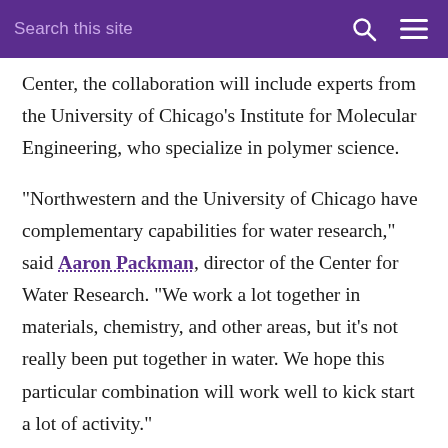Search this site
Center, the collaboration will include experts from the University of Chicago's Institute for Molecular Engineering, who specialize in polymer science.
“Northwestern and the University of Chicago have complementary capabilities for water research,” said Aaron Packman, director of the Center for Water Research. “We work a lot together in materials, chemistry, and other areas, but it’s not really been put together in water. We hope this particular combination will work well to kick start a lot of activity.”